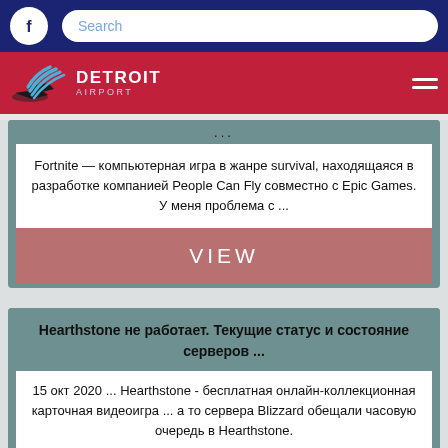[Figure (screenshot): Website header with dark blue navigation bar containing Facebook icon and search bar]
[Figure (logo): Detroit Airport logo with red background, airplane and waves icon, DETROIT AIRPORT text, and hamburger menu]
...
Fortnite — компьютерная игра в жанре survival, находящаяся в разработке компанией People Can Fly совместно с Epic Games. У меня проблема с ...
VIEW
Hearthstone не работает. Текущие статус и состояние серверов ...
15 окт 2020 ... Hearthstone - бесплатная онлайн-коллекционная карточная видеоигра ... а то сервера Blizzard обещали часовую очередь в Hearthstone.